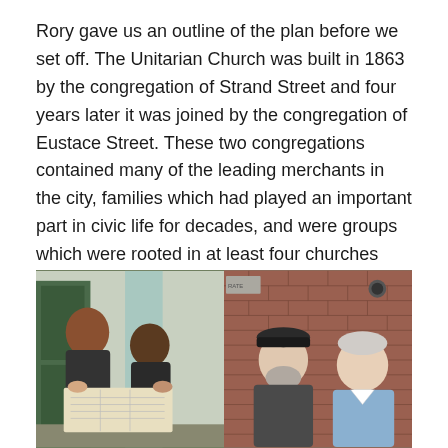Rory gave us an outline of the plan before we set off. The Unitarian Church was built in 1863 by the congregation of Strand Street and four years later it was joined by the congregation of Eustace Street. These two congregations contained many of the leading merchants in the city, families which had played an important part in civic life for decades, and were groups which were rooted in at least four churches which had maintained a continuity of existence from Cromwellian and Puritan times onwards.
[Figure (photo): Two side-by-side photos taken outside a building. Left: two people with dark hair looking at a map together, a teal/mint coloured pillar in background and green door. Right: two older men, one with a dark flat cap and beard, one with white hair in light blue shirt, appearing to discuss something, red brick wall in background.]